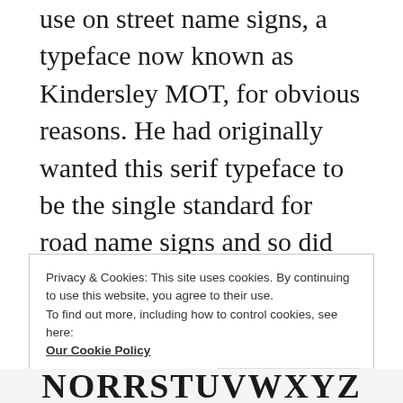use on street name signs, a typeface now known as Kindersley MOT, for obvious reasons. He had originally wanted this serif typeface to be the single standard for road name signs and so did the Ministry, but the Royal Fine Arts Commission (can you imagine it getting involved in such a discussion today?) disagreed. In the end, a Ministry of Transport circular of 1952 made Kindersley’s serif typeface one of several suggested for use on street name signs, and Kindersley worked on the refinement of all the recommended typefaces.
Privacy & Cookies: This site uses cookies. By continuing to use this website, you agree to their use.
To find out more, including how to control cookies, see here:
Our Cookie Policy
Close and accept
NORRSTUVWXYZ